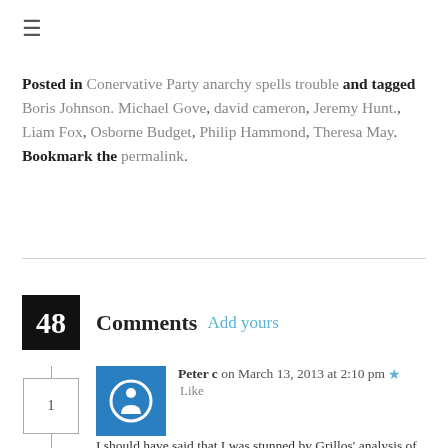≡
Posted in Conervative Party anarchy spells trouble and tagged Boris Johnson. Michael Gove, david cameron, Jeremy Hunt., Liam Fox, Osborne Budget, Philip Hammond, Theresa May. Bookmark the permalink.
48 Comments Add yours
Peter c on March 13, 2013 at 2:10 pm ★ Like
I should have said that I was stunned by Grillos' analysis of events, given that the standup routine shown here is from 1998.
I recognise that future events can go so any